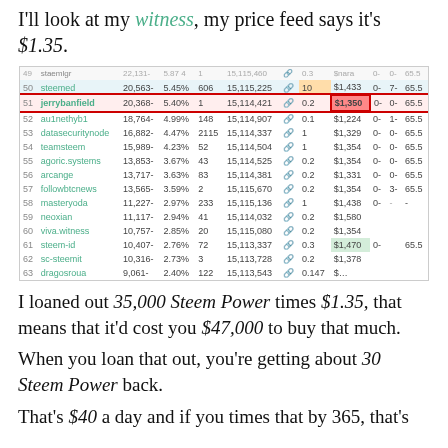I'll look at my witness, my price feed says it's $1.35.
[Figure (screenshot): Screenshot of a Steem witness list table showing rankings 49-63, with row 51 jerrybanfield highlighted in red with price $1.350]
I loaned out 35,000 Steem Power times $1.35, that means that it'd cost you $47,000 to buy that much.
When you loan that out, you're getting about 30 Steem Power back.
That's $40 a day and if you times that by 365, that's